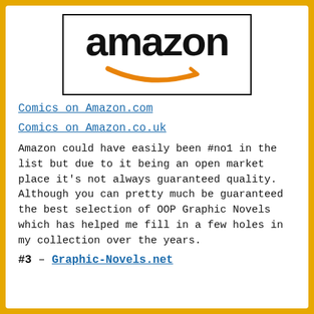[Figure (logo): Amazon logo with black text 'amazon' and orange smile arrow underneath, inside a black-bordered rectangle]
Comics on Amazon.com
Comics on Amazon.co.uk
Amazon could have easily been #no1 in the list but due to it being an open market place it's not always guaranteed quality. Although you can pretty much be guaranteed the best selection of OOP Graphic Novels which has helped me fill in a few holes in my collection over the years.
#3 – Graphic-Novels.net